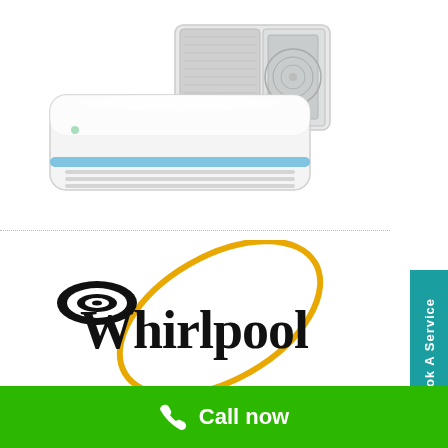[Figure (photo): Split air conditioner unit - indoor and outdoor units shown on white background]
[Figure (logo): Whirlpool brand logo - black whirlpool swirl icon with 'Whirlpool' text and gold/orange ellipse orbit graphic]
Book A Service
Call now